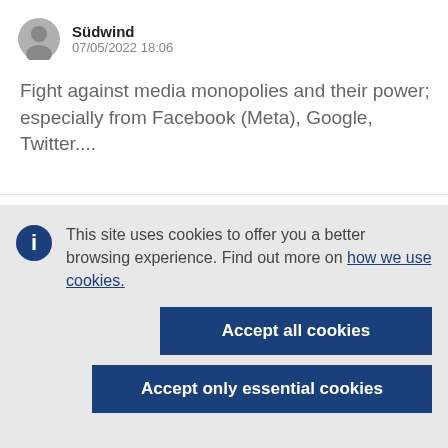Südwind
07/05/2022 18:06
Fight against media monopolies and their power; especially from Facebook (Meta), Google, Twitter....
This site uses cookies to offer you a better browsing experience. Find out more on how we use cookies.
Accept all cookies
Accept only essential cookies